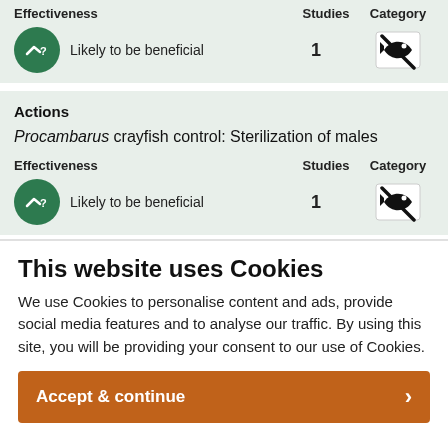| Effectiveness | Studies | Category |
| --- | --- | --- |
| Likely to be beneficial | 1 | [fish icon] |
Actions
Procambarus crayfish control: Sterilization of males
| Effectiveness | Studies | Category |
| --- | --- | --- |
| Likely to be beneficial | 1 | [fish icon] |
This website uses Cookies
We use Cookies to personalise content and ads, provide social media features and to analyse our traffic. By using this site, you will be providing your consent to our use of Cookies.
Accept & continue